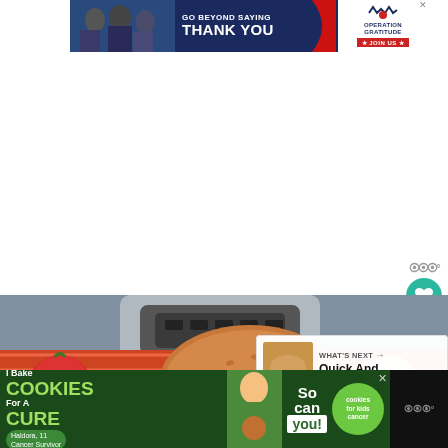[Figure (other): Advertisement banner: 'GO BEYOND SAYING THANK YOU' with Operation Gratitude logo and JOIN US button on dark navy background]
[Figure (photo): Food photo showing a pulled meat sandwich on a bun with an Instant Pot or pressure cooker in the background and tomatoes on the left]
WHAT'S NEXT → Quick And Easy...
[Figure (other): Advertisement banner: 'I Bake COOKIES For A CURE' with child photo and cookies for kids cancer logo, text 'So can you!']